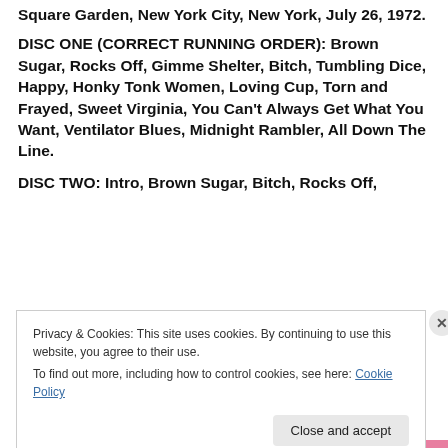Square Garden, New York City, New York, July 26, 1972.
DISC ONE (CORRECT RUNNING ORDER): Brown Sugar, Rocks Off, Gimme Shelter, Bitch, Tumbling Dice, Happy, Honky Tonk Women, Loving Cup, Torn and Frayed, Sweet Virginia, You Can't Always Get What You Want, Ventilator Blues, Midnight Rambler, All Down The Line.
DISC TWO: Intro, Brown Sugar, Bitch, Rocks Off,
Privacy & Cookies: This site uses cookies. By continuing to use this website, you agree to their use.
To find out more, including how to control cookies, see here: Cookie Policy